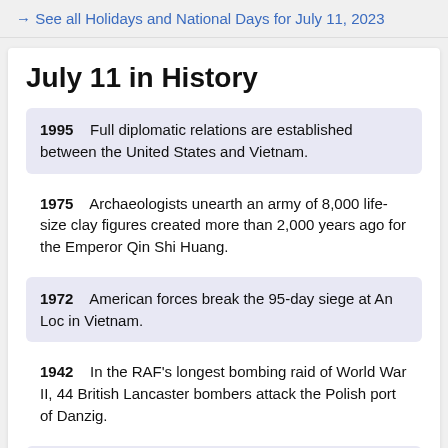→ See all Holidays and National Days for July 11, 2023
July 11 in History
1995    Full diplomatic relations are established between the United States and Vietnam.
1975    Archaeologists unearth an army of 8,000 life-size clay figures created more than 2,000 years ago for the Emperor Qin Shi Huang.
1972    American forces break the 95-day siege at An Loc in Vietnam.
1942    In the RAF's longest bombing raid of World War II, 44 British Lancaster bombers attack the Polish port of Danzig.